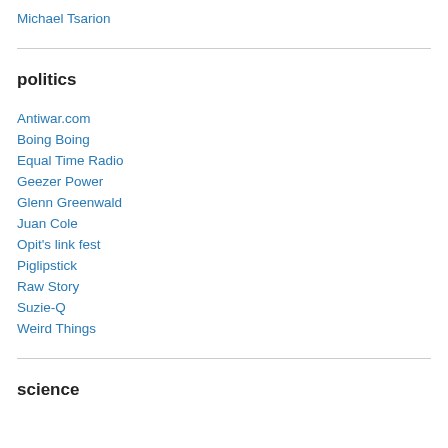Michael Tsarion
politics
Antiwar.com
Boing Boing
Equal Time Radio
Geezer Power
Glenn Greenwald
Juan Cole
Opit's link fest
Piglipstick
Raw Story
Suzie-Q
Weird Things
science